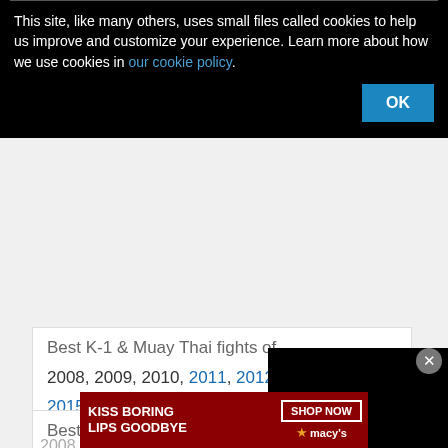This site, like many others, uses small files called cookies to help us improve and customize your experience. Learn more about how we use cookies in our cookie policy.
OK
Best K-1 & Muay Thai fights of
2008, 2009, 2010, 2011, 2012, 2013, 2014, 2015, 2016, 2017, 2018, 2019, 2020, 2021
Best Kickboxing
Best Mma fights of
CLOSE
2008
[Figure (screenshot): Black video player overlay]
[Figure (photo): Advertisement banner: KISS BORING LIPS GOODBYE with woman, SHOP NOW button, macys logo]